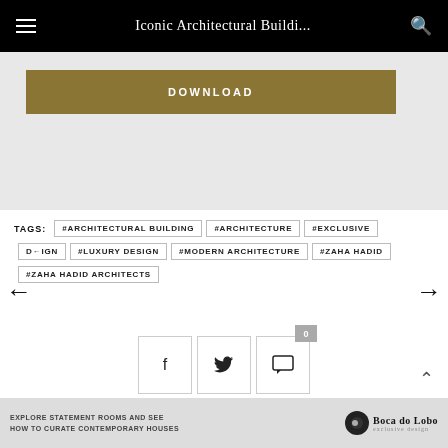Iconic Architectural Buildi...
[Figure (screenshot): Download button on grey background with gold/olive colored DOWNLOAD button]
TAGS: #ARCHITECTURAL BUILDING #ARCHITECTURE #EXCLUSIVE DESIGN #LUXURY DESIGN #MODERN ARCHITECTURE #ZAHA HADID #ZAHA HADID ARCHITECTS
[Figure (infographic): Social sharing icons: Facebook, Twitter, and comment bubble with count 0]
EXPLORE STATEMENT ROOMS AND SEE HOW TO CURATE CONTEMPORARY HOUSES | Boca do Lobo exclusive design